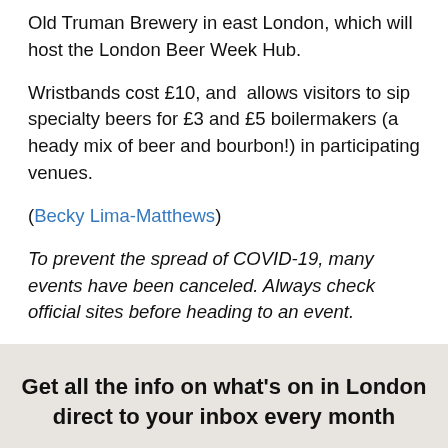Old Truman Brewery in east London, which will host the London Beer Week Hub.
Wristbands cost £10, and  allows visitors to sip specialty beers for £3 and £5 boilermakers (a heady mix of beer and bourbon!) in participating venues.
(Becky Lima-Matthews)
To prevent the spread of COVID-19, many events have been canceled. Always check official sites before heading to an event.
Get all the info on what's on in London direct to your inbox every month